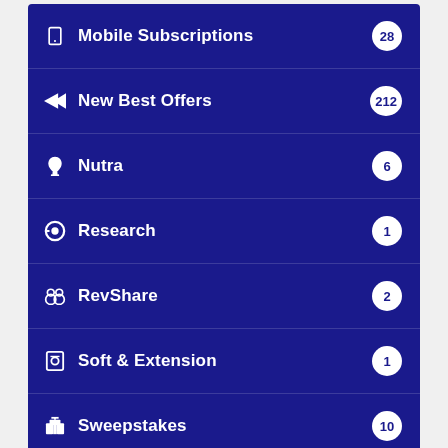Mobile Subscriptions 28
New Best Offers 212
Nutra 6
Research 1
RevShare 2
Soft & Extension 1
Sweepstakes 10
Trends 10
With Prelander 25